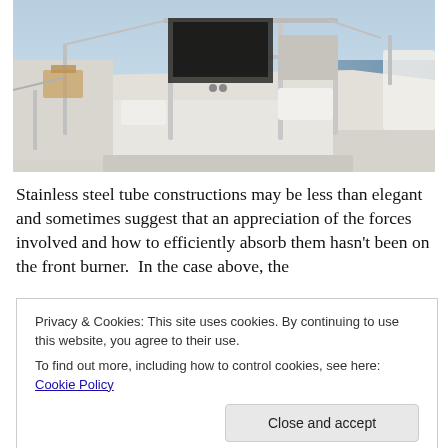[Figure (photo): Photograph of a catamaran cockpit/deck area showing stainless steel tube frame construction, white surfaces, seating areas, and a marina with other boats visible in the background.]
Stainless steel tube constructions may be less than elegant and sometimes suggest that an appreciation of the forces involved and how to efficiently absorb them hasn't been on the front burner.  In the case above, the
Privacy & Cookies: This site uses cookies. By continuing to use this website, you agree to their use.
To find out more, including how to control cookies, see here: Cookie Policy